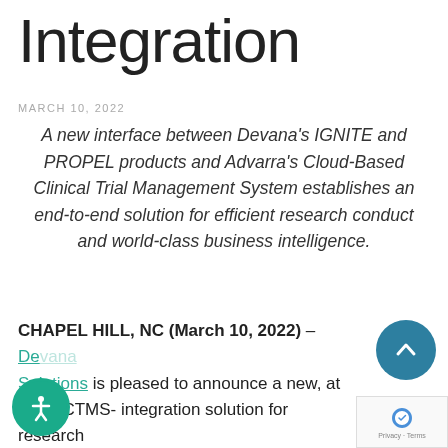Integration
MARCH 10, 2022
A new interface between Devana's IGNITE and PROPEL products and Advarra's Cloud-Based Clinical Trial Management System establishes an end-to-end solution for efficient research conduct and world-class business intelligence.
CHAPEL HILL, NC (March 10, 2022) – Devana Solutions is pleased to announce a new, at scale CTMS- integration solution for research organizations utilizing Advarra's Clinical Conductor Clinical Trial Management Sy...